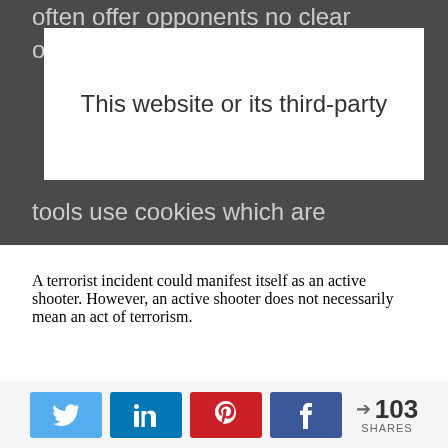often offer opponents no clear organization to defend against or to
This website or its third-party tools use cookies which are
A terrorist incident could manifest itself as an active shooter. However, an active shooter does not necessarily mean an act of terrorism.
Understanding the Motivation
Religious oriented groups typically attempt to inflict as much harm as possible, loss of life is irrelevant, and
[Figure (infographic): Social media share buttons: Twitter (blue), LinkedIn (blue), Pinterest (red), Facebook (dark blue), with share count showing 103 SHARES]